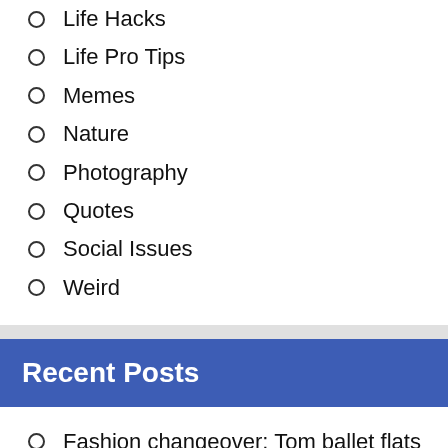Interesting Stories
Life Hacks
Life Pro Tips
Memes
Nature
Photography
Quotes
Social Issues
Weird
Recent Posts
Fashion changeover: Tom ballet flats discontinued